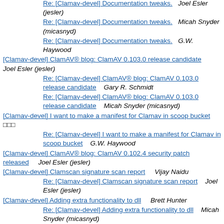Re: [Clamav-devel] Documentation tweaks.   Joel Esler (jesler)
Re: [Clamav-devel] Documentation tweaks.   Micah Snyder (micasnyd)
Re: [Clamav-devel] Documentation tweaks.   G.W. Haywood
[Clamav-devel] ClamAV® blog: ClamAV 0.103.0 release candidate   Joel Esler (jesler)
Re: [Clamav-devel] ClamAV® blog: ClamAV 0.103.0 release candidate   Gary R. Schmidt
Re: [Clamav-devel] ClamAV® blog: ClamAV 0.103.0 release candidate   Micah Snyder (micasnyd)
[Clamav-devel] I want to make a manifest for Clamav in scoop bucket   □□□
Re: [Clamav-devel] I want to make a manifest for Clamav in scoop bucket   G.W. Haywood
[Clamav-devel] ClamAV® blog: ClamAV 0.102.4 security patch released   Joel Esler (jesler)
[Clamav-devel] Clamscan signature scan report   Vijay Naidu
Re: [Clamav-devel] Clamscan signature scan report   Joel Esler (jesler)
[Clamav-devel] Adding extra functionality to dll   Brett Hunter
Re: [Clamav-devel] Adding extra functionality to dll   Micah Snyder (micasnyd)
Re: [Clamav-devel] Adding extra functionality to dll   Brett Hunter
Re: [Clamav-devel] Adding extra functionality to dll   Brett Hunter